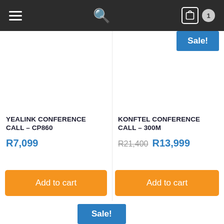[Figure (screenshot): Navigation bar with hamburger menu, search icon, cart icon and badge showing 1]
Sale!
YEALINK CONFERENCE CALL – CP860
R7,099
KONFTEL CONFERENCE CALL – 300M
R21,400 R13,999
Add to cart
Add to cart
Sale!